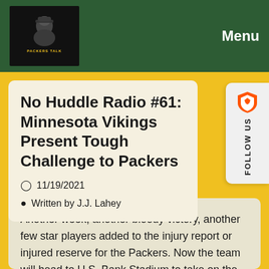Packers Talk | Menu
No Huddle Radio #61: Minnesota Vikings Present Tough Challenge to Packers
11/19/2021
Written by J.J. Lahey
Another week, another bloody victory, another few star players added to the injury report or injured reserve for the Packers. Now the team will head to U.S. Bank Stadium to take on the only NFC North rival who's managed a win over the Matt LaFleur-led Pack so far. The Minnesota